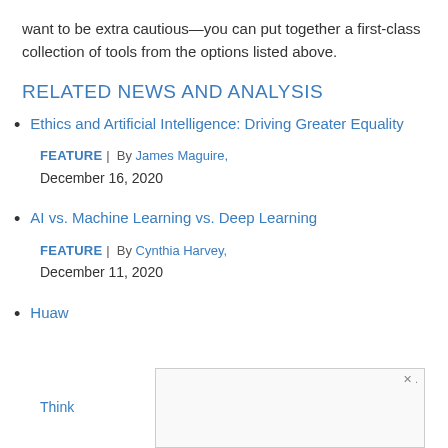want to be extra cautious—you can put together a first-class collection of tools from the options listed above.
RELATED NEWS AND ANALYSIS
Ethics and Artificial Intelligence: Driving Greater Equality
FEATURE |  By James Maguire, December 16, 2020
AI vs. Machine Learning vs. Deep Learning
FEATURE |  By Cynthia Harvey, December 11, 2020
Huaw Think